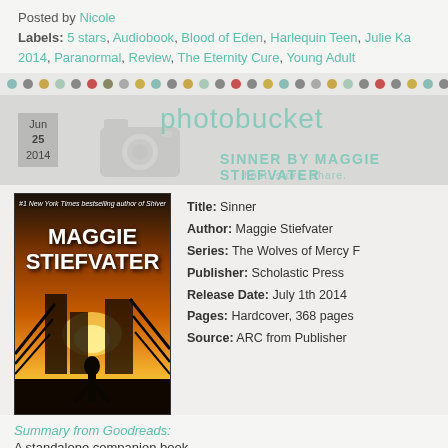Posted by Nicole
Labels: 5 stars, Audiobook, Blood of Eden, Harlequin Teen, Julie Ka 2014, Paranormal, Review, The Eternity Cure, Young Adult
[Figure (other): Decorative dots divider bar with multicolored circles]
[Figure (other): Photobucket watermark overlay showing Jun 25 2014 date box and book title SINNER BY MAGGIE STIEFVATER]
[Figure (photo): Book cover for Sinner by Maggie Stiefvater showing silhouette against sunset]
Title: Sinner
Author: Maggie Stiefvater
Series: The Wolves of Mercy F
Publisher: Scholastic Press
Release Date: July 1th 2014
Pages: Hardcover, 368 pages
Source: ARC from Publisher
Summary from Goodreads:
A standalone companion book